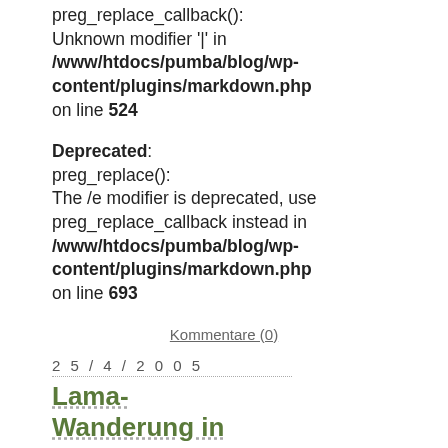preg_replace_callback(): Unknown modifier '|' in /www/htdocs/pumba/blog/wp-content/plugins/markdown.php on line 524
Deprecated: preg_replace(): The /e modifier is deprecated, use preg_replace_callback instead in /www/htdocs/pumba/blog/wp-content/plugins/markdown.php on line 693
Kommentare (0)
2 5 / 4 / 2 0 0 5
Lama-Wanderung in Hessen
Abgelegt unter: News